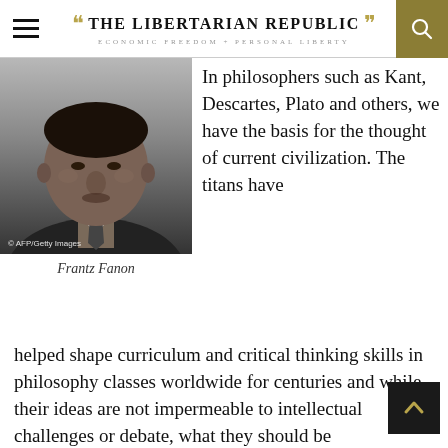THE LIBERTARIAN REPUBLIC — ECONOMIC FREEDOM + PERSONAL LIBERTY
[Figure (photo): Black and white portrait photograph of Frantz Fanon, showing his face and upper chest wearing a suit and tie. Watermark reads © AFP/Getty Images.]
Frantz Fanon
In philosophers such as Kant, Descartes, Plato and others, we have the basis for the thought of current civilization. The titans have helped shape curriculum and critical thinking skills in philosophy classes worldwide for centuries and while their ideas are not impermeable to intellectual challenges or debate, what they should be impermeable from is censorship due to political correctness.